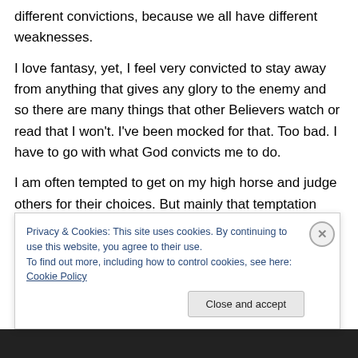different convictions, because we all have different weaknesses.
I love fantasy, yet, I feel very convicted to stay away from anything that gives any glory to the enemy and so there are many things that other Believers watch or read that I won't. I've been mocked for that. Too bad. I have to go with what God convicts me to do.
I am often tempted to get on my high horse and judge others for their choices. But mainly that temptation comes when they make me feel
Privacy & Cookies: This site uses cookies. By continuing to use this website, you agree to their use.
To find out more, including how to control cookies, see here: Cookie Policy